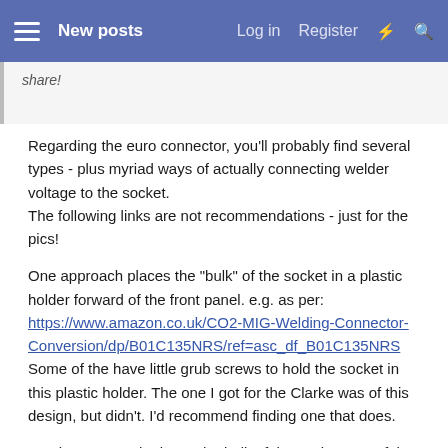New posts | Log in | Register
share!
Regarding the euro connector, you'll probably find several types - plus myriad ways of actually connecting welder voltage to the socket.
The following links are not recommendations - just for the pics!
One approach places the "bulk" of the socket in a plastic holder forward of the front panel. e.g. as per:
https://www.amazon.co.uk/CO2-MIG-Welding-Connector-Conversion/dp/B01C135NRS/ref=asc_df_B01C135NRS
Some of the have little grub screws to hold the socket in this plastic holder. The one I got for the Clarke was of this design, but didn't. I'd recommend finding one that does.
Another approach places the bulk of the socket rear of the front panel - no real stick out at front of machine; but needs a little more space inside.